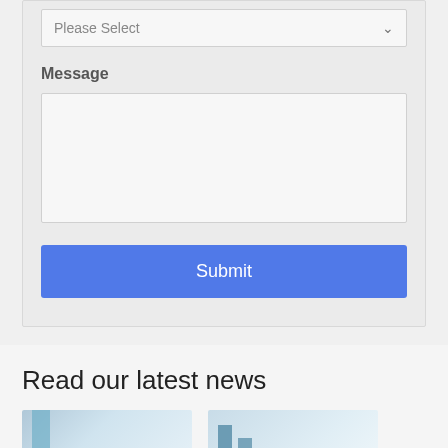[Figure (screenshot): Dropdown select box with 'Please Select' placeholder and chevron arrow]
Message
[Figure (screenshot): Empty textarea input box for message]
Submit
Read our latest news
[Figure (photo): Two partial news article thumbnail images at the bottom of the page]